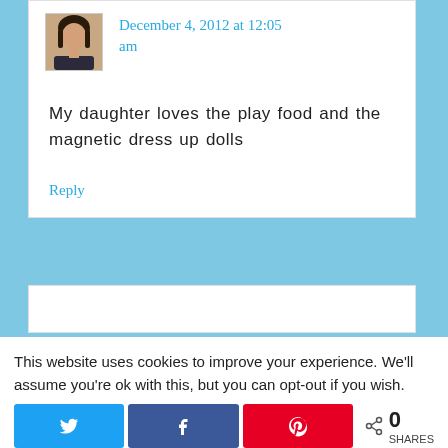[Figure (photo): User avatar photo of a woman]
December 4, 2012 at 12:05 am
My daughter loves the play food and the magnetic dress up dolls
Reply
This website uses cookies to improve your experience. We'll assume you're ok with this, but you can opt-out if you wish.
[Figure (infographic): Social share buttons: Twitter, Facebook, Pinterest, and share count showing 0 SHARES]